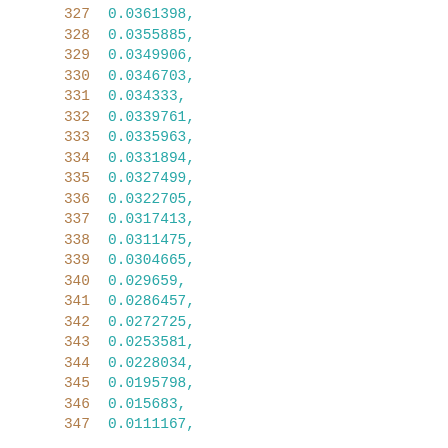327    0.0361398,
328    0.0355885,
329    0.0349906,
330    0.0346703,
331    0.034333,
332    0.0339761,
333    0.0335963,
334    0.0331894,
335    0.0327499,
336    0.0322705,
337    0.0317413,
338    0.0311475,
339    0.0304665,
340    0.029659,
341    0.0286457,
342    0.0272725,
343    0.0253581,
344    0.0228034,
345    0.0195798,
346    0.015683,
347    0.0111167,